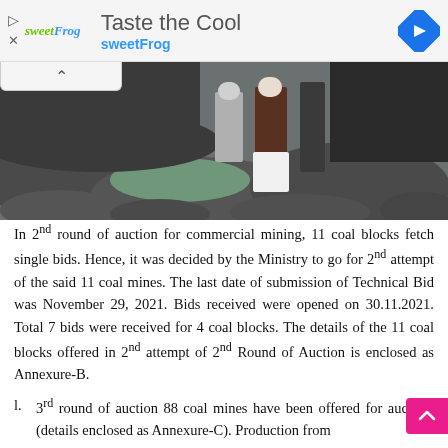[Figure (screenshot): Ad banner for sweetFrog frozen yogurt: 'Taste the Cool sweetFrog' with logo and navigation arrow icon]
[Figure (photo): People standing at a coal mining site near rocky terrain and water]
In 2nd round of auction for commercial mining, 11 coal blocks fetch single bids. Hence, it was decided by the Ministry to go for 2nd attempt of the said 11 coal mines. The last date of submission of Technical Bid was November 29, 2021. Bids received were opened on 30.11.2021. Total 7 bids were received for 4 coal blocks. The details of the 11 coal blocks offered in 2nd attempt of 2nd Round of Auction is enclosed as Annexure-B.
1. 3rd round of auction 88 coal mines have been offered for auction. (details enclosed as Annexure-C). Production from